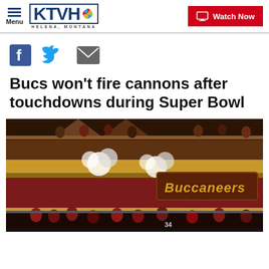KTVH Helena, Montana — Menu | Watch Now
[Figure (logo): Social share icons: Facebook, Twitter, Email]
Bucs won't fire cannons after touchdowns during Super Bowl
[Figure (photo): Tampa Bay Buccaneers pirate ship display with cannon smoke and fans in the stands, Buccaneers sign visible]